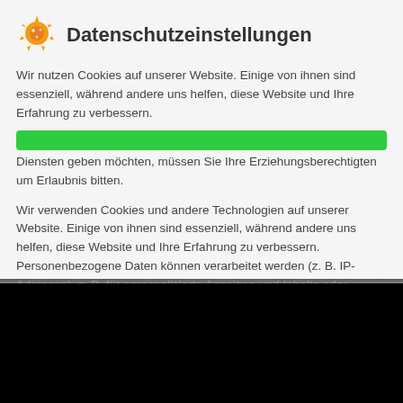Datenschutzeinstellungen
Wir nutzen Cookies auf unserer Website. Einige von ihnen sind essenziell, während andere uns helfen, diese Website und Ihre Erfahrung zu verbessern.
Wenn Sie unter 16 Jahre alt sind und Ihre Zustimmung zu freiwilligen Diensten geben möchten, müssen Sie Ihre Erziehungsberechtigten um Erlaubnis bitten.
Wir verwenden Cookies und andere Technologien auf unserer Website. Einige von ihnen sind essenziell, während andere uns helfen, diese Website und Ihre Erfahrung zu verbessern. Personenbezogene Daten können verarbeitet werden (z. B. IP-Adressen), z. B. für personalisierte Anzeigen und Inhalte oder
Essenziell
Statistiken
Externe Medien